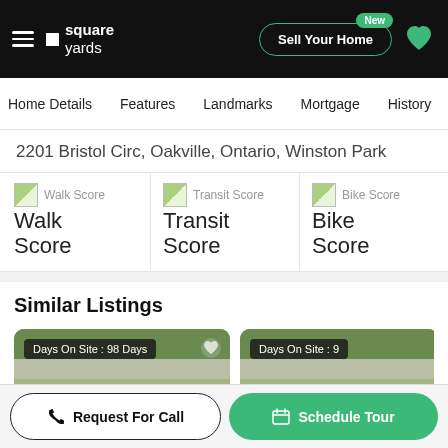Square Yards – Sell Your Home
Home Details  Features  Landmarks  Mortgage  History
2201 Bristol Circ, Oakville, Ontario, Winston Park
Walk Score  Walk Score
Transit Score  Transit Score
Bike Score  Bike Score
Similar Listings
[Figure (photo): Aerial view of parking lot and building, Days On Site: 98 Days]
[Figure (photo): Aerial view of parking lot (partially visible), Days On Site: 9...]
Request For Call   Schedule Tour